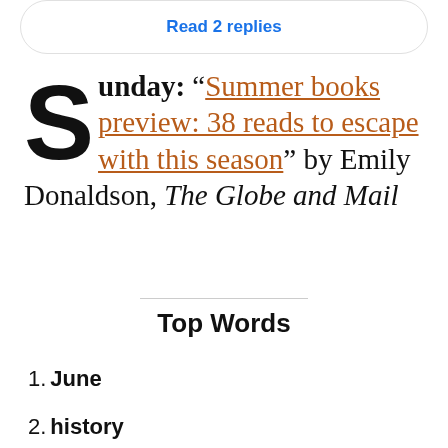Read 2 replies
Sunday: “Summer books preview: 38 reads to escape with this season” by Emily Donaldson, The Globe and Mail
Top Words
1. June
2. history